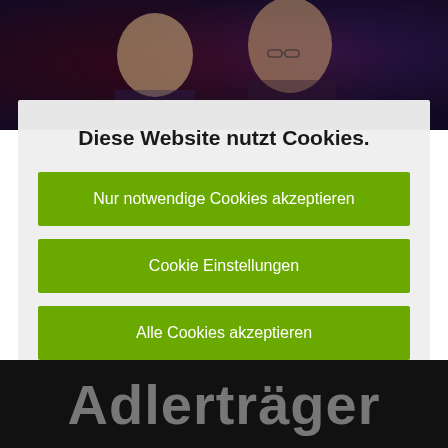[Figure (photo): Dark background photo showing two people, appears to be a TV show or event setting with purple/red lighting]
Diese Website nutzt Cookies.
Nur notwendige Cookies akzeptieren
Cookie Einstellungen
Alle Cookies akzeptieren
mehr Infos / Datenschutzhinweise
[Figure (photo): Black banner at bottom with bold gray text reading 'Adlerträger']